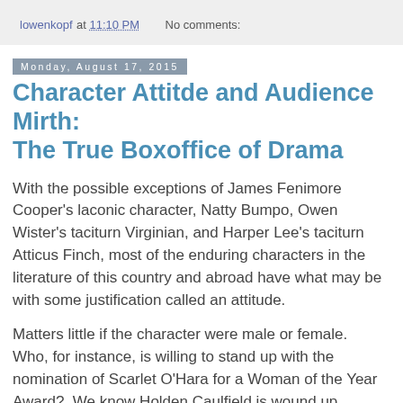lowenkopf at 11:10 PM    No comments:
Monday, August 17, 2015
Character Attitde and Audience Mirth: The True Boxoffice of Drama
With the possible exceptions of James Fenimore Cooper's laconic character, Natty Bumpo, Owen Wister's taciturn Virginian, and Harper Lee's taciturn Atticus Finch, most of the enduring characters in the literature of this country and abroad have what may be with some justification called an attitude.
Matters little if the character were male or female.  Who, for instance, is willing to stand up with the nomination of Scarlet O'Hara for a Woman of the Year Award?  We know Holden Caulfield is wound up